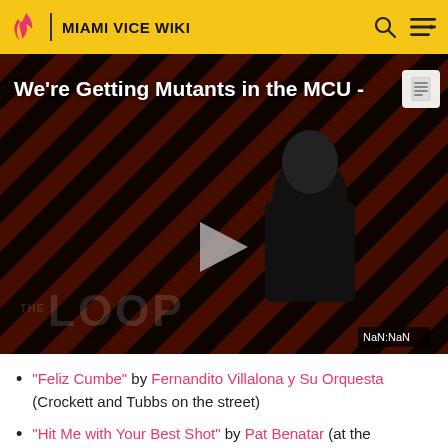MIAMI VICE WIKI
[Figure (screenshot): Video thumbnail showing 'We're Getting Mutants in the MCU -' title over a dark background with diagonal red/black stripes and a man in a suit. Play button visible. THE LOOP watermark. NaN:NaN timestamp shown.]
"Feliz Cumbe" by Fernandito Villalona y Su Orquesta (Crockett and Tubbs on the street)
"Hit Me with Your Best Shot" by Pat Benatar (at the Moya gym)